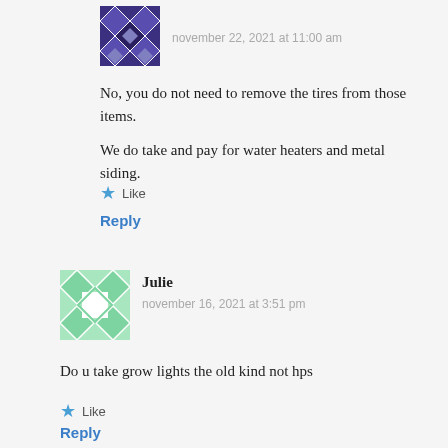[Figure (illustration): Purple geometric avatar with diamond/star pattern]
november 22, 2021 at 11:00 am
No, you do not need to remove the tires from those items. We do take and pay for water heaters and metal siding.
Like
Reply
[Figure (illustration): Green geometric avatar with diamond pattern border]
Julie
november 16, 2021 at 3:51 pm
Do u take grow lights the old kind not hps
Like
Reply